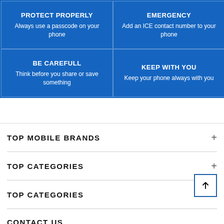[Figure (infographic): 2x2 blue grid with phone safety tips: PROTECT PROPERLY, EMERGENCY, BE CAREFULL, KEEP WITH YOU]
TOP MOBILE BRANDS
TOP CATEGORIES
TOP CATEGORIES
CONTACT US
info@mobilephone.com.bd